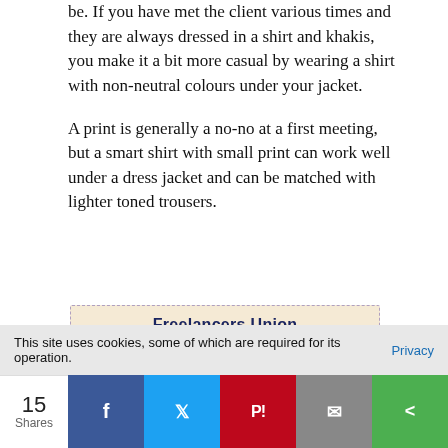be. If you have met the client various times and they are always dressed in a shirt and khakis, you make it a bit more casual by wearing a shirt with non-neutral colours under your jacket.
A print is generally a no-no at a first meeting, but a smart shirt with small print can work well under a dress jacket and can be matched with lighter toned trousers.
[Figure (illustration): Freelancers Union banner with illustrated figures on a beige/tan background with a red circle and pink mountains]
This site uses cookies, some of which are required for its operation. Privacy
15 Shares | Facebook | Twitter | Pinterest | Mail | Share